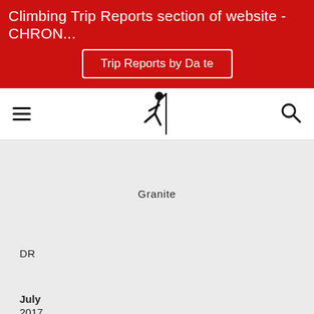Climbing Trip Reports section of website - CHRON...
Trip Reports by Date
[Figure (logo): Climber silhouette logo icon showing a person climbing on a wall]
Granite
DR
July 2017